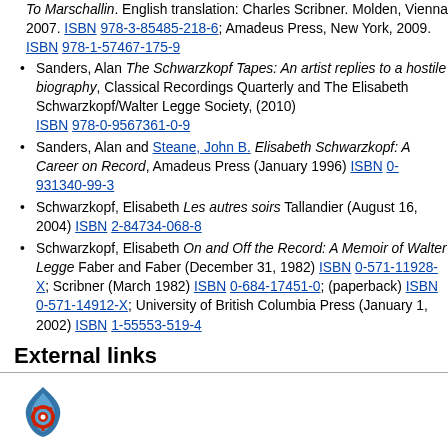To Marschallin. English translation: Charles Scribner. Molden, Vienna 2007. ISBN 978-3-85485-218-6; Amadeus Press, New York, 2009. ISBN 978-1-57467-175-9
Sanders, Alan The Schwarzkopf Tapes: An artist replies to a hostile biography, Classical Recordings Quarterly and The Elisabeth Schwarzkopf/Walter Legge Society, (2010) ISBN 978-0-9567361-0-9
Sanders, Alan and Steane, John B. Elisabeth Schwarzkopf: A Career on Record, Amadeus Press (January 1996) ISBN 0-931340-99-3
Schwarzkopf, Elisabeth Les autres soirs Tallandier (August 16, 2004) ISBN 2-84734-068-8
Schwarzkopf, Elisabeth On and Off the Record: A Memoir of Walter Legge Faber and Faber (December 31, 1982) ISBN 0-571-11928-X; Scribner (March 1982) ISBN 0-684-17451-0; (paperback) ISBN 0-571-14912-X; University of British Columbia Press (January 1, 2002) ISBN 1-55553-519-4
External links
[Figure (logo): Wikimedia Commons logo — blue flame/drop shape with red and white gear wheel]
Wikimedia Commons has media related to Elisabeth Schwarzkopf.